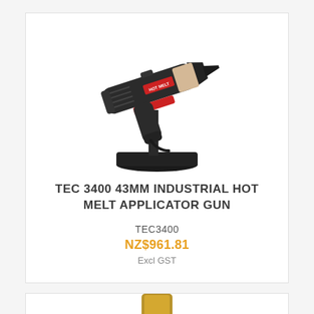[Figure (photo): Black industrial hot melt applicator gun (TEC 3400) with red trigger, standing on a black stand, viewed from the side at an angle. The gun has a cylindrical barrel and a pointed nozzle.]
TEC 3400 43MM INDUSTRIAL HOT MELT APPLICATOR GUN
TEC3400
NZ$961.81
Excl GST
[Figure (photo): Black industrial hot melt gun (second product), partially visible at the bottom of the page, showing the top portion including a gold/yellow colored glue stick and the handle.]